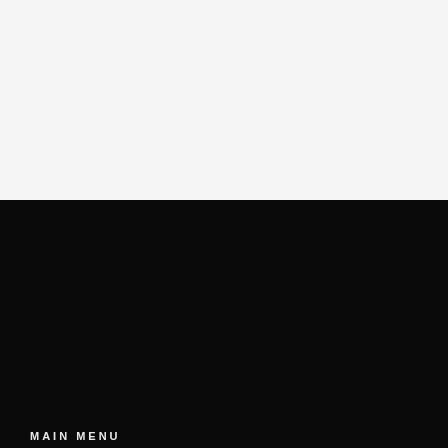[Figure (other): Light gray/white blank upper section of page]
MAIN MENU
HOME
ABOUT
SHOP
WEDDING STATIONERY
WHOLESALE